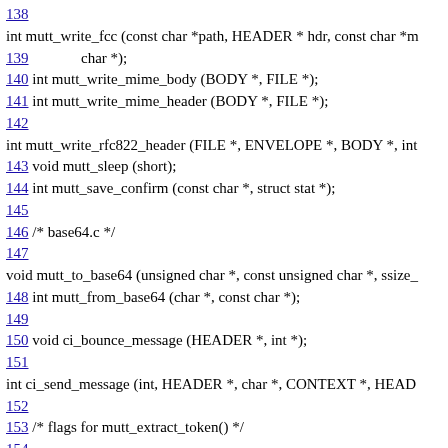138
int mutt_write_fcc (const char *path, HEADER * hdr, const char *m
139        char *);
140 int mutt_write_mime_body (BODY *, FILE *);
141 int mutt_write_mime_header (BODY *, FILE *);
142
int mutt_write_rfc822_header (FILE *, ENVELOPE *, BODY *, int
143 void mutt_sleep (short);
144 int mutt_save_confirm (const char *, struct stat *);
145
146 /* base64.c */
147
void mutt_to_base64 (unsigned char *, const unsigned char *, ssize_
148 int mutt_from_base64 (char *, const char *);
149
150 void ci_bounce_message (HEADER *, int *);
151
int ci_send_message (int, HEADER *, char *, CONTEXT *, HEAD
152
153 /* flags for mutt_extract_token() */
154
#define M_TOKEN_EQUAL        (1 << 0)  /* treat '=' as a special
155
#define M_TOKEN_CONDENSE      (1 << 1)  /* ^(char) to control
156
#define M_TOKEN_SPACE         (1 << 2)  /* don't treat whitespace